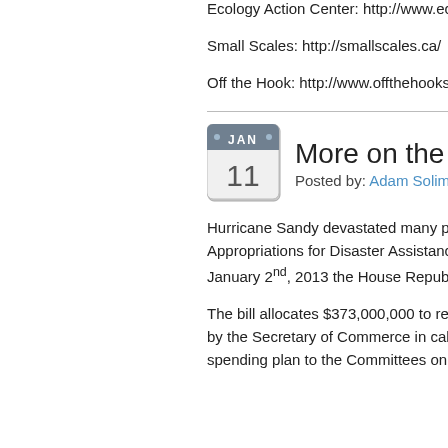Ecology Action Center: http://www.eco...
Small Scales: http://smallscales.ca/
Off the Hook: http://www.offthehooksf...
More on the U.
Posted by: Adam Soliman
Hurricane Sandy devastated many par... Northeast regions. On December 28, 2... Appropriations for Disaster Assistance.... Sandy, as well as to other natural disa... January 2nd, 2013 the House Republic... Assistance Supplemental Appropriation...
The bill allocates $373,000,000 to rem... $150,000,000 is allocated for necessar... by the Secretary of Commerce in cale... matters: first, the National Oceanic an... spending plan to the Committees on A...